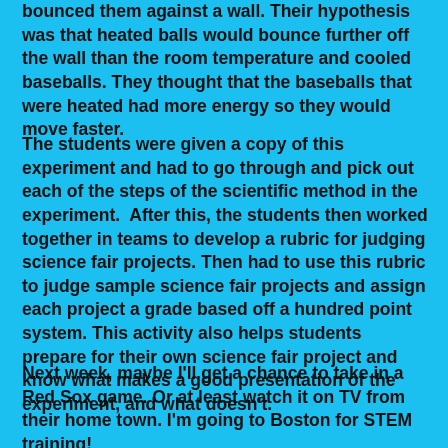bounced them against a wall. Their hypothesis was that heated balls would bounce further off the wall than the room temperature and cooled baseballs. They thought that the baseballs that were heated had more energy so they would move faster.
The students were given a copy of this experiment and had to go through and pick out each of the steps of the scientific method in the experiment.  After this, the students then worked together in teams to develop a rubric for judging science fair projects. Then had to use this rubric to judge sample science fair projects and assign each project a grade based off a hundred point system. This activity also helps students prepare for their own science fair project and know what makes a good presentation of the experiment, and what doesn't.
Next week, maybe I'll get a chance to take in a Red Sox game. Or at least watch it on TV from their home town. I'm going to Boston for STEM training!